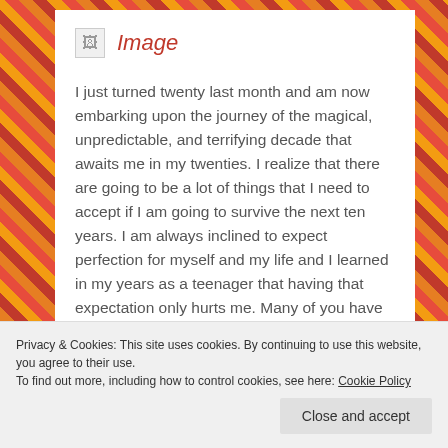[Figure (illustration): Broken image placeholder icon with red 'Image' label text beside it]
I just turned twenty last month and am now embarking upon the journey of the magical, unpredictable, and terrifying decade that awaits me in my twenties. I realize that there are going to be a lot of things that I need to accept if I am going to survive the next ten years. I am always inclined to expect perfection for myself and my life and I learned in my years as a teenager that having that expectation only hurts me. Many of you have probably done the same. Therefore I made myself
Privacy & Cookies: This site uses cookies. By continuing to use this website, you agree to their use.
To find out more, including how to control cookies, see here: Cookie Policy
Close and accept